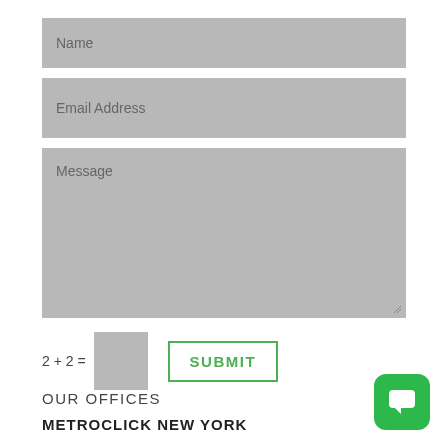Name
Email Address
Message
2 + 2 =
SUBMIT
OUR OFFICES
METROCLICK NEW YORK